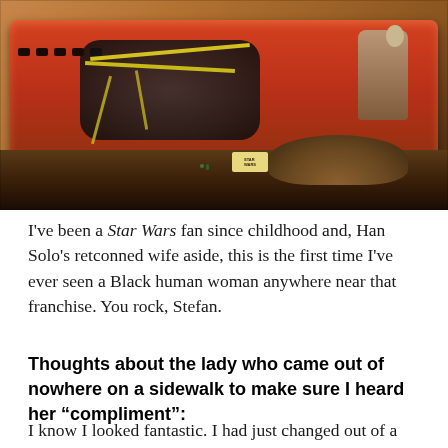[Figure (photo): A Star Wars toy diorama showing an overturned or displayed orange/red vehicle (appears to be a Star Wars toy speeder or vehicle) with dark machinery, yellow elastic straps, a figure dressed in light-colored clothing on the right, gravel/dirt scatter base, and a small Star Wars label plaque. Sandy/dark background.]
I've been a Star Wars fan since childhood and, Han Solo's retconned wife aside, this is the first time I've ever seen a Black human woman anywhere near that franchise. You rock, Stefan.
Thoughts about the lady who came out of nowhere on a sidewalk to make sure I heard her “compliment”:
I know I looked fantastic. I had just changed out of a cosplay